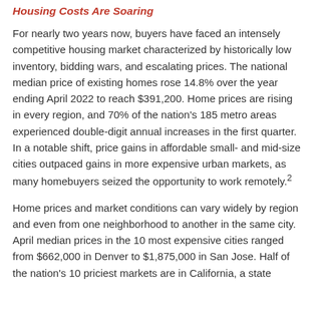Housing Costs Are Soaring
For nearly two years now, buyers have faced an intensely competitive housing market characterized by historically low inventory, bidding wars, and escalating prices. The national median price of existing homes rose 14.8% over the year ending April 2022 to reach $391,200. Home prices are rising in every region, and 70% of the nation's 185 metro areas experienced double-digit annual increases in the first quarter. In a notable shift, price gains in affordable small- and mid-size cities outpaced gains in more expensive urban markets, as many homebuyers seized the opportunity to work remotely.²
Home prices and market conditions can vary widely by region and even from one neighborhood to another in the same city. April median prices in the 10 most expensive cities ranged from $662,000 in Denver to $1,875,000 in San Jose. Half of the nation's 10 priciest markets are in California, a state